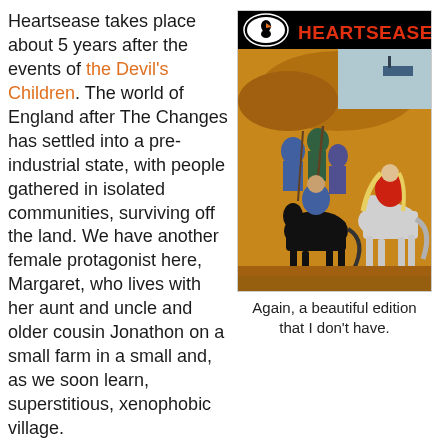Heartsease takes place about 5 years after the events of the Devil's Children. The world of England after The Changes has settled into a pre-industrial state, with people gathered in isolated communities, surviving off the land. We have another female protagonist here, Margaret, who lives with her aunt and uncle and older cousin Jonathon on a small farm in a small and, as we soon learn, superstitious, xenophobic village.
[Figure (illustration): Book cover of 'Heartsease' by Peter Dickinson, a Puffin edition. Orange/yellow background with illustrated scene of people on horseback and on foot, appearing chaotic. A black horse faces away, a white horse carries a rider in red top with long blonde hair. Title 'HEARTSEASE' in large red capital letters at top, Puffin logo (puffin bird in oval) top left, 'Peter Dickinson' in black text.]
Again, a beautiful edition that I don't have.
The book starts in medias res, with Margaret poking around after a stoning of a witch. She notices that the stones are moving and with the help of her cousin they end up rescuing the witch, who turns out to